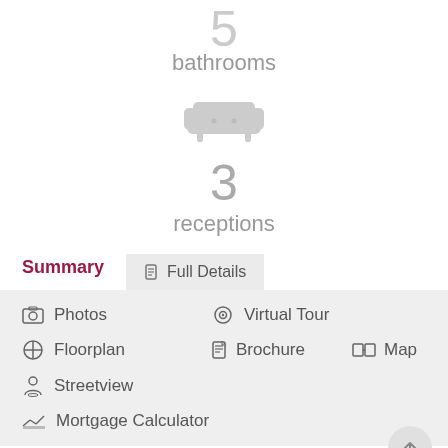bathrooms
[Figure (illustration): Sofa/couch icon in light gray]
3
receptions
Summary | Full Details (tabs)
Photos
Virtual Tour
Floorplan
Brochure
Map
Streetview
Mortgage Calculator
Virdee Estates are proud to present For Sale this seven-bedroom